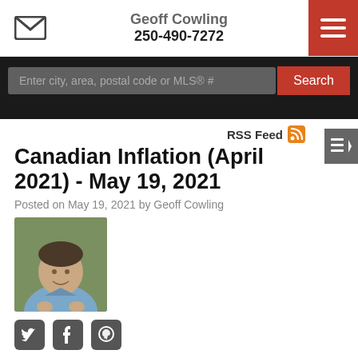Geoff Cowling 250-490-7272
Canadian Inflation (April 2021) - May 19, 2021
Posted on May 19, 2021 by Geoff Cowling
[Figure (photo): Portrait photo of Geoff Cowling, a middle-aged man in a light blue shirt seated outdoors with greenery behind him]
Canadian inflation, as measured by the Consumer Price